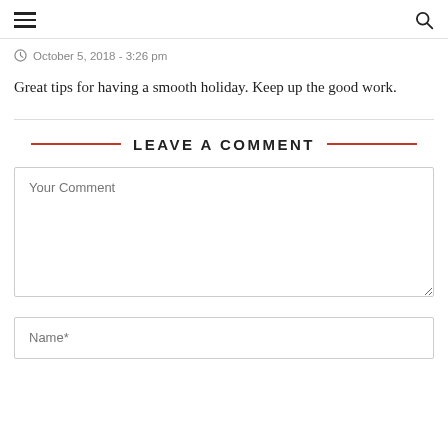☰  🔍
October 5, 2018 - 3:26 pm
Great tips for having a smooth holiday. Keep up the good work.
LEAVE A COMMENT
Your Comment
Name*